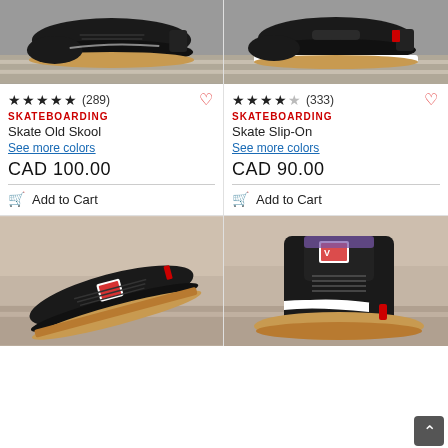[Figure (photo): Black Vans Skate Old Skool shoe on stone steps, top-left product]
★★★★½ (289)
SKATEBOARDING
Skate Old Skool
See more colors
CAD 100.00
Add to Cart
[Figure (photo): Black and white Vans Skate Slip-On shoe on stone steps, top-right product]
★★★½ (333)
SKATEBOARDING
Skate Slip-On
See more colors
CAD 90.00
Add to Cart
[Figure (photo): Black Vans skate shoe with gum sole and skateboarding logo, bottom-left product]
[Figure (photo): Black Vans high-top skate shoe with gum sole, bottom-right product]